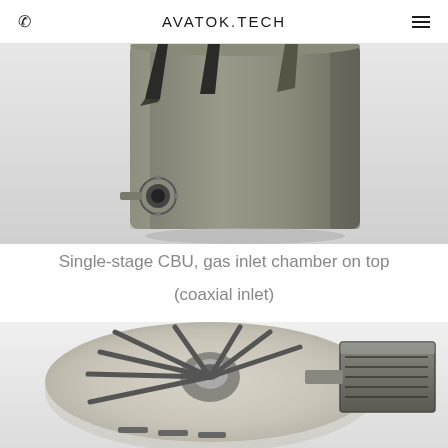AVATOK.TECH
[Figure (photo): 3D render of a single-stage CBU cylindrical vessel with black fin-like protrusions at the top and a circular flange/inlet at the lower side, shown from an angle]
Single-stage CBU, gas inlet chamber on top
(coaxial inlet)
[Figure (photo): 3D render of a CBU coaxial inlet assembly viewed from above-front showing a disc-shaped top with radial vanes/fins and a rectangular outlet duct on the right side]